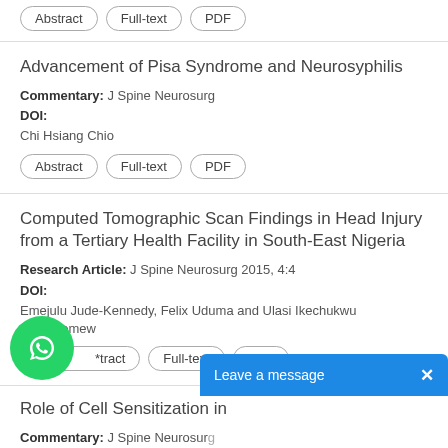Abstract | Full-text | PDF (buttons at top)
Advancement of Pisa Syndrome and Neurosyphilis
Commentary: J Spine Neurosurg
DOI:
Chi Hsiang Chio
Abstract | Full-text | PDF
Computed Tomographic Scan Findings in Head Injury from a Tertiary Health Facility in South-East Nigeria
Research Article: J Spine Neurosurg 2015, 4:4
DOI:
Emejulu Jude-Kennedy, Felix Uduma and Ulasi Ikechukwu Bartholomew
*tract | Full-text | PDF
Role of Cell Sensitization in
Commentary: J Spine Neurosurg